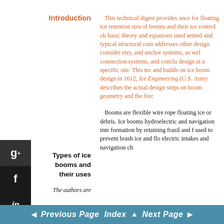Introduction
This technical digest provides ance for floating ice retention stru of booms and their ice control ob basic theory and equations used sented and typical structural com addresses other design consider etry, and anchor systems, as wel connection systems, and conclu design at a specific site. This tec and builds on ice boom design in 1612, Ice Engineering (U.S. Army describes the actual design steps on boom geometry and the forc
Types of ice booms and their uses
Booms are flexible wire rope floating ice or debris. Ice booms hydroelectric and navigation inte formation by retaining frazil and f used to prevent brash ice and flo electric intakes and navigation ch
The authors are
Previous Page  Index  Next Page